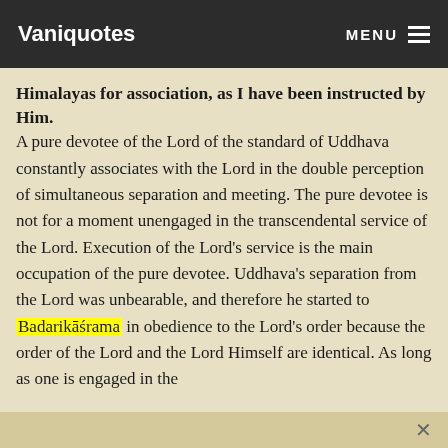Vaniquotes | MENU
Himalayas for association, as I have been instructed by Him.
A pure devotee of the Lord of the standard of Uddhava constantly associates with the Lord in the double perception of simultaneous separation and meeting. The pure devotee is not for a moment unengaged in the transcendental service of the Lord. Execution of the Lord's service is the main occupation of the pure devotee. Uddhava's separation from the Lord was unbearable, and therefore he started to Badarikāśrama in obedience to the Lord's order because the order of the Lord and the Lord Himself are identical. As long as one is engaged in the